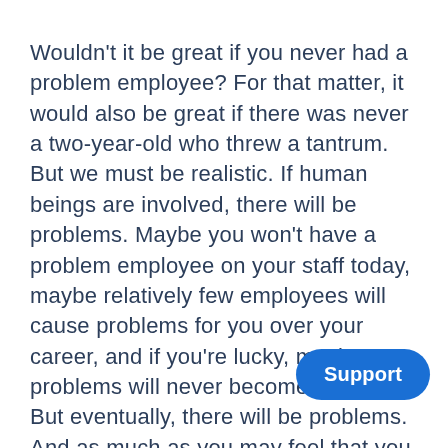Wouldn't it be great if you never had a problem employee? For that matter, it would also be great if there was never a two-year-old who threw a tantrum. But we must be realistic. If human beings are involved, there will be problems. Maybe you won't have a problem employee on your staff today, maybe relatively few employees will cause problems for you over your career, and if you're lucky, maybe your problems will never become extreme. But eventually, there will be problems. And as much as you may feel that you shouldn't have to deal with those problems, you do, and you must. In [Support] willing and able to manage problem
[Figure (other): Blue rounded rectangle button with white bold text reading 'Support', positioned in the lower-right area of the page overlapping the text.]